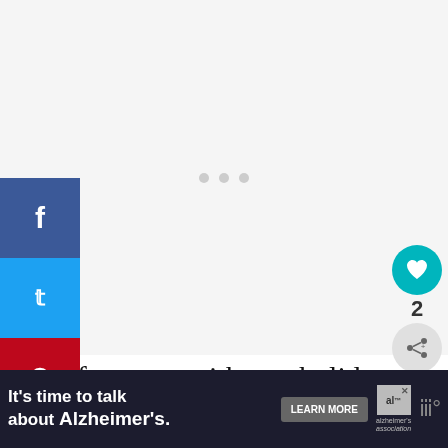[Figure (other): Ad loading placeholder area with three grey dots indicating content loading]
[Figure (other): Social media share sidebar with Facebook (blue), Twitter (cyan), and Pinterest (red) buttons]
[Figure (other): Heart/like button showing count of 2, and share button on right side]
Of course, with any holiday, you will most likely pack more for the little ones compared to the rest of the family. The
[Figure (other): What's Next widget showing '5 Top Beach Destinations...' with thumbnail]
[Figure (other): Bottom advertisement banner: It's time to talk about Alzheimer's. LEARN MORE. Alzheimer's Association logo.]